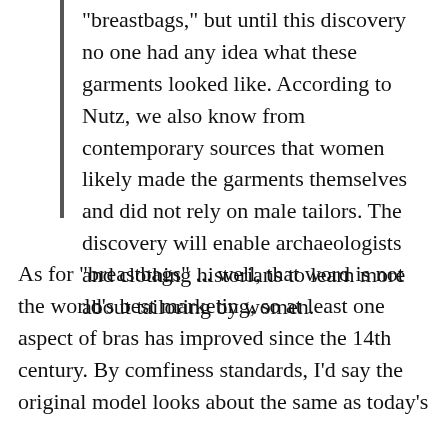"breastbags," but until this discovery no one had any idea what these garments looked like. According to Nutz, we also know from contemporary sources that women likely made the garments themselves and did not rely on male tailors. The discovery will enable archaeologists and clothing historians to learn more about tailoring by women.
As for "breastbags" ... well, that word is not the world's best marketing, so at least one aspect of bras has improved since the 14th century. By comfiness standards, I'd say the original model looks about the same as today's...